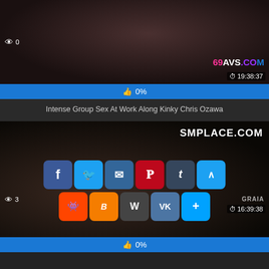[Figure (screenshot): Video thumbnail of group scene with watermark 69AVS.COM, view count 0, duration 19:38:37]
👍 0%
Intense Group Sex At Work Along Kinky Chris Ozawa
[Figure (screenshot): Video thumbnail with SMPLACE.COM watermark, GRAIA watermark, view count 3, duration 16:39:38, social sharing buttons visible]
👍 0%